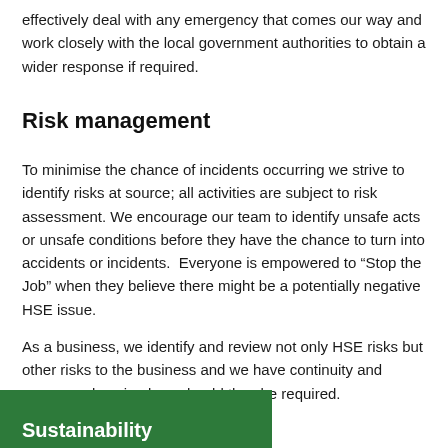effectively deal with any emergency that comes our way and work closely with the local government authorities to obtain a wider response if required.
Risk management
To minimise the chance of incidents occurring we strive to identify risks at source; all activities are subject to risk assessment. We encourage our team to identify unsafe acts or unsafe conditions before they have the chance to turn into accidents or incidents.  Everyone is empowered to “Stop the Job” when they believe there might be a potentially negative HSE issue.
As a business, we identify and review not only HSE risks but other risks to the business and we have continuity and recovery plans in place should they be required.
Sustainability